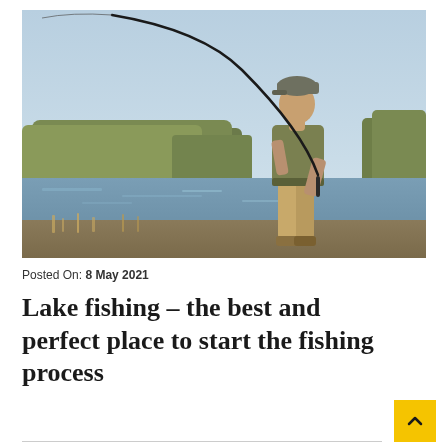[Figure (photo): An older man with a grey cap wearing an olive t-shirt and khaki pants, standing sideways and casting a fishing rod near a river with trees in the background under a clear sky.]
Posted On: 8 May 2021
Lake fishing – the best and perfect place to start the fishing process